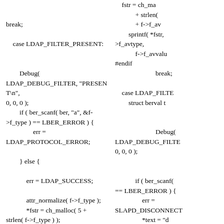Left column code fragment: break; case LDAP_FILTER_PRESENT: Debug( LDAP_DEBUG_FILTER, "PRESENT\n", 0, 0, 0 ); if ( ber_scanf( ber, "a", &f->f_type ) == LBER_ERROR ) { err = LDAP_PROTOCOL_ERROR; } else { err = LDAP_SUCCESS; attr_normalize( f->f_type ); *fstr = ch_malloc( 5 + strlen( f->f_type );
Right column code fragment: fstr = ch_ma + strlen( + f->f_av sprintf( *fstr, >f_avtype, f->f_avvalu #endif break; case LDAP_FILTE struct berval t Debug( LDAP_DEBUG_FILTE 0, 0, 0 ); if ( ber_scanf( == LBER_ERROR ) { err = SLAPD_DISCONNECT *text = "d filter"; break; }